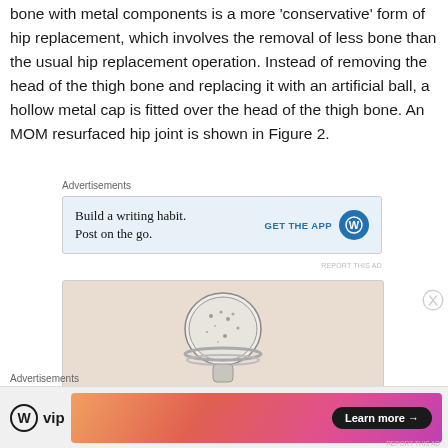bone with metal components is a more 'conservative' form of hip replacement, which involves the removal of less bone than the usual hip replacement operation. Instead of removing the head of the thigh bone and replacing it with an artificial ball, a hollow metal cap is fitted over the head of the thigh bone. An MOM resurfaced hip joint is shown in Figure 2.
[Figure (other): Advertisement banner: 'Build a writing habit. Post on the go.' with GET THE APP button and WordPress icon]
[Figure (illustration): Advertisement image showing a resurfaced hip joint component illustration on a beige background]
[Figure (other): Bottom advertisement bar: WordPress VIP logo on left, gradient banner with 'Learn more' button on right]